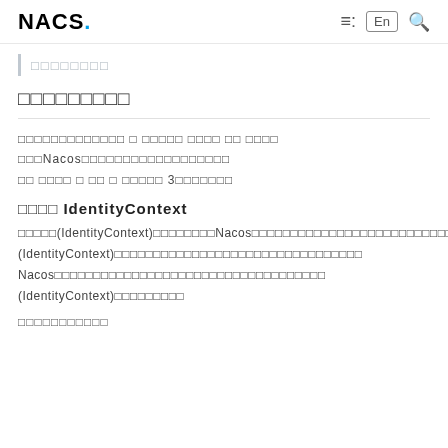NACOS. ≡: En 🔍
□□□□□□□□
□□□□□□□□□
□□□□□□□□□□□□□ □ □□□□□ □□□□ □□ □□□□ □□□Nacos□□□□□□□□□□□□□□□□□□ □□ □□□□ □ □□ □ □□□□□ 3□□□□□□□
□□□□ IdentityContext
□□□□□(IdentityContext)□□□□□□□□Nacos□□□□□□□□□□□□□□□□□□□□□□□□□□□□□□□□□□□□□□□□□accessToken□□□□□□□□□□□□□□□□□ (IdentityContext)□□□□□□□□□□□□□□□□□□□□□□□□□□□□□□□□ Nacos□□□□□□□□□□□□□□□□□□□□□□□□□□□□□□□□□□□ (IdentityContext)□□□□□□□□□
□□□□□□□□□□□